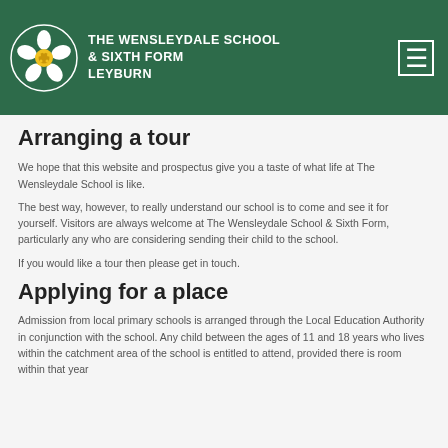THE WENSLEYDALE SCHOOL & SIXTH FORM LEYBURN
Arranging a tour
We hope that this website and prospectus give you a taste of what life at The Wensleydale School is like.
The best way, however, to really understand our school is to come and see it for yourself. Visitors are always welcome at The Wensleydale School & Sixth Form, particularly any who are considering sending their child to the school.
If you would like a tour then please get in touch.
Applying for a place
Admission from local primary schools is arranged through the Local Education Authority in conjunction with the school. Any child between the ages of 11 and 18 years who lives within the catchment area of the school is entitled to attend, provided there is room within that year